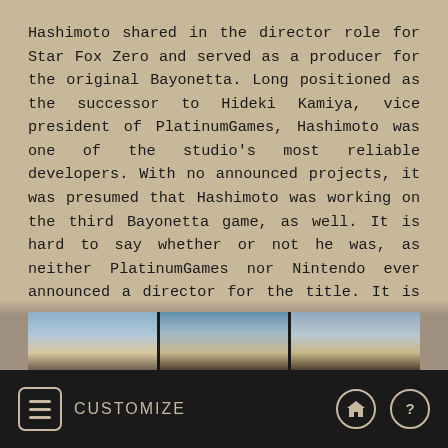Hashimoto shared in the director role for Star Fox Zero and served as a producer for the original Bayonetta. Long positioned as the successor to Hideki Kamiya, vice president of PlatinumGames, Hashimoto was one of the studio's most reliable developers. With no announced projects, it was presumed that Hashimoto was working on the third Bayonetta game, as well. It is hard to say whether or not he was, as neither PlatinumGames nor Nintendo ever announced a director for the title. It is possible Hashimoto had moved on to another project.
Rainbow Six Siege Introduces Two New Australian Operators
4 years ago from GameInformer Preview GameInformer News
[Figure (photo): Partial view of two landscape/sky photographs side by side]
CUSTOMIZE